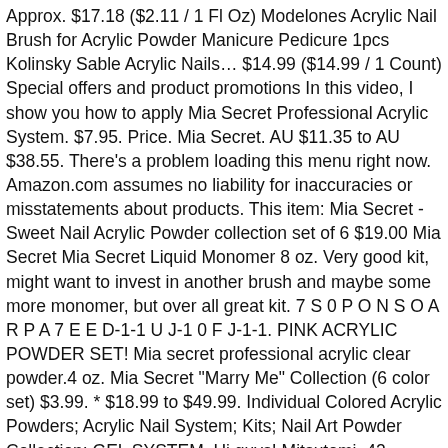Approx. $17.18 ($2.11 / 1 Fl Oz) Modelones Acrylic Nail Brush for Acrylic Powder Manicure Pedicure 1pcs Kolinsky Sable Acrylic Nails… $14.99 ($14.99 / 1 Count) Special offers and product promotions In this video, I show you how to apply Mia Secret Professional Acrylic System. $7.95. Price. Mia Secret. AU $11.35 to AU $38.55. There's a problem loading this menu right now. Amazon.com assumes no liability for inaccuracies or misstatements about products. This item: Mia Secret -Sweet Nail Acrylic Powder collection set of 6 $19.00 Mia Secret Mia Secret Liquid Monomer 8 oz. Very good kit, might want to invest in another brush and maybe some more monomer, but over all great kit. 7 S 0 P O N S O A R P A 7 E E D-1-1 U J-1 0 F J-1-1. PINK ACRYLIC POWDER SET! Mia secret professional acrylic clear powder.4 oz. Mia Secret "Marry Me" Collection (6 color set) $3.99. * $18.99 to $49.99. Individual Colored Acrylic Powders; Acrylic Nail System; Kits; Nail Art Powder Collection; GEL SYSTEM. Hi guys! Mitsutomi, 42